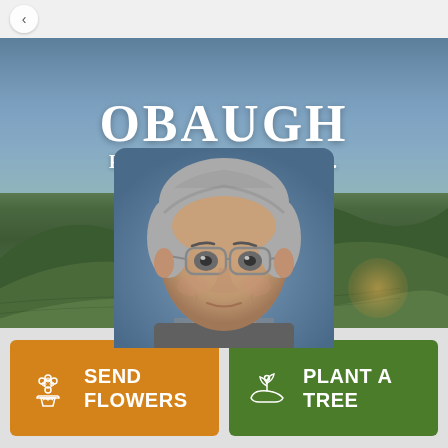[Figure (photo): Funeral home hero banner with landscape background (rolling green hills and sky), Obaugh Funeral Home Inc. logo text, and portrait photo of an elderly woman with gray hair and glasses]
OBAUGH FUNERAL HOME, INC.
SEND FLOWERS
PLANT A TREE